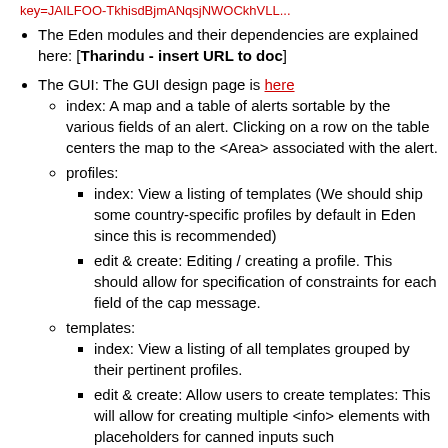key=JAILFOO-TkhisdBjmANqsjNWOCkhVLL...
The Eden modules and their dependencies are explained here: [Tharindu - insert URL to doc]
The GUI: The GUI design page is here
index: A map and a table of alerts sortable by the various fields of an alert. Clicking on a row on the table centers the map to the <Area> associated with the alert.
profiles:
index: View a listing of templates (We should ship some country-specific profiles by default in Eden since this is recommended)
edit & create: Editing / creating a profile. This should allow for specification of constraints for each field of the cap message.
templates:
index: View a listing of all templates grouped by their pertinent profiles.
edit & create: Allow users to create templates: This will allow for creating multiple <info> elements with placeholders for canned inputs such